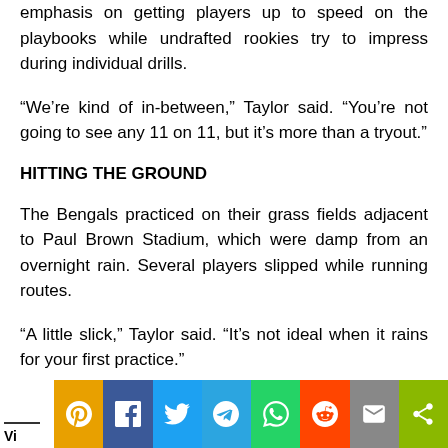emphasis on getting players up to speed on the playbooks while undrafted rookies try to impress during individual drills.
“We’re kind of in-between,” Taylor said. “You’re not going to see any 11 on 11, but it’s more than a tryout.”
HITTING THE GROUND
The Bengals practiced on their grass fields adjacent to Paul Brown Stadium, which were damp from an overnight rain. Several players slipped while running routes.
“A little slick,” Taylor said. “It’s not ideal when it rains for your first practice.”
[Figure (infographic): Social sharing bar with icons: Pinterest (orange), Facebook (blue), Twitter (light blue), Telegram (blue), WhatsApp (green), Reddit (orange-red), Email (grey), Share (green). Partial 'Vi...' text below bar on white background.]